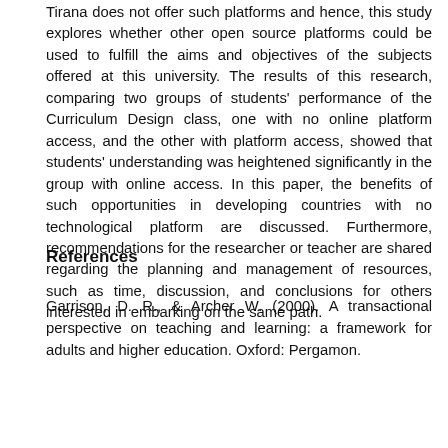Tirana does not offer such platforms and hence, this study explores whether other open source platforms could be used to fulfill the aims and objectives of the subjects offered at this university. The results of this research, comparing two groups of students' performance of the Curriculum Design class, one with no online platform access, and the other with platform access, showed that students' understanding was heightened significantly in the group with online access. In this paper, the benefits of such opportunities in developing countries with no technological platform are discussed. Furthermore, recommendations for the researcher or teacher are shared regarding the planning and management of resources, such as time, discussion, and conclusions for others interested in embarking on the same path.
References
Garrison, D. R., & Archer W. (2000). A transactional perspective on teaching and learning: a framework for adults and higher education. Oxford: Pergamon.